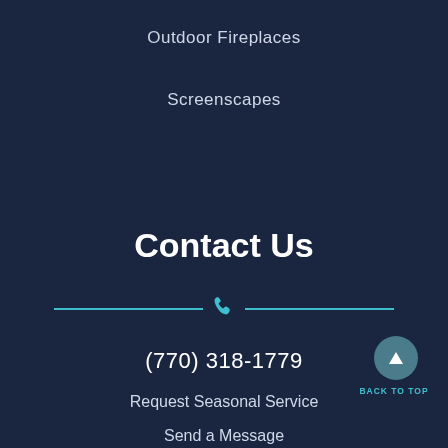Outdoor Fireplaces
Screenscapes
Contact Us
(770) 318-1779
Request Seasonal Service
Send a Message
BACK TO TOP